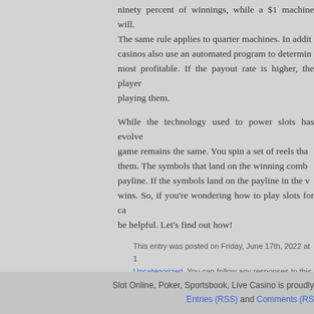ninety percent of winnings, while a $1 machine will. The same rule applies to quarter machines. In addition, casinos also use an automated program to determine most profitable. If the payout rate is higher, the player playing them.
While the technology used to power slots has evolved, game remains the same. You spin a set of reels that them. The symbols that land on the winning combination payline. If the symbols land on the payline in the winning wins. So, if you're wondering how to play slots for cash be helpful. Let's find out how!
This entry was posted on Friday, June 17th, 2022 at 1 Uncategorized. You can follow any responses to this entry. Responses are currently closed, but you can trackback fr.
Comments are closed.
Slot Online, Poker, Sportsbook, Live Casino is proudly. Entries (RSS) and Comments (RS